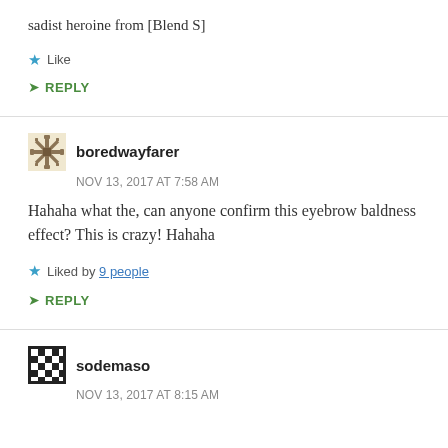sadist heroine from [Blend S]
Like
REPLY
boredwayfarer
NOV 13, 2017 AT 7:58 AM
Hahaha what the, can anyone confirm this eyebrow baldness effect? This is crazy! Hahaha
Liked by 9 people
REPLY
sodemaso
NOV 13, 2017 AT 8:15 AM